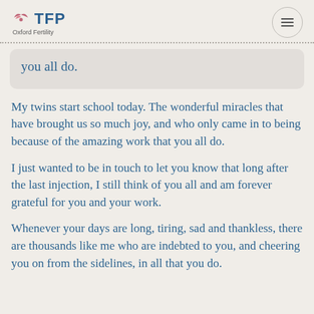TFP Oxford Fertility
you all do.
My twins start school today. The wonderful miracles that have brought us so much joy, and who only came in to being because of the amazing work that you all do.
I just wanted to be in touch to let you know that long after the last injection, I still think of you all and am forever grateful for you and your work.
Whenever your days are long, tiring, sad and thankless, there are thousands like me who are indebted to you, and cheering you on from the sidelines, in all that you do.